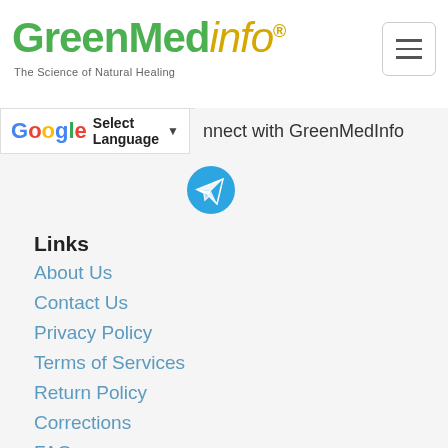GreenMedInfo - The Science of Natural Healing
[Figure (logo): GreenMedInfo logo with tagline 'The Science of Natural Healing']
Connect with GreenMedInfo
[Figure (other): Telegram social media icon - blue circle with paper plane]
Links
About Us
Contact Us
Privacy Policy
Terms of Services
Return Policy
Corrections
FAQ
Write For Us
Research
Substances
Ailments